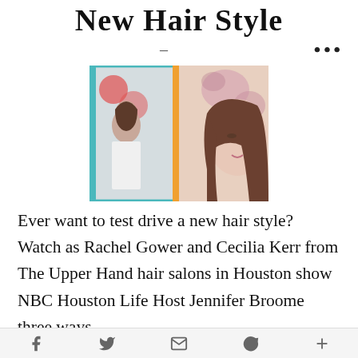New Hair Style
[Figure (photo): Split composite photo: left side shows a woman with long brown hair in a white tank top in front of a teal-framed mirror with colorful geometric background; right side shows a close-up of a woman with long brown hair and light makeup against a floral background.]
Ever want to test drive a new hair style? Watch as Rachel Gower and Cecilia Kerr from The Upper Hand hair salons in Houston show NBC Houston Life Host Jennifer Broome three ways
f  t  [email icon]  p  +